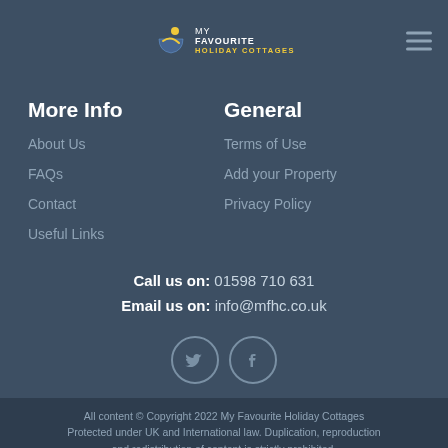MY FAVOURITE HOLIDAY COTTAGES
More Info
General
About Us
Terms of Use
FAQs
Add your Property
Contact
Privacy Policy
Useful Links
Call us on: 01598 710 631
Email us on: info@mfhc.co.uk
[Figure (illustration): Twitter and Facebook social media icon circles]
All content © Copyright 2022 My Favourite Holiday Cottages Protected under UK and International law. Duplication, reproduction and redistribution of content is strictly prohibited.